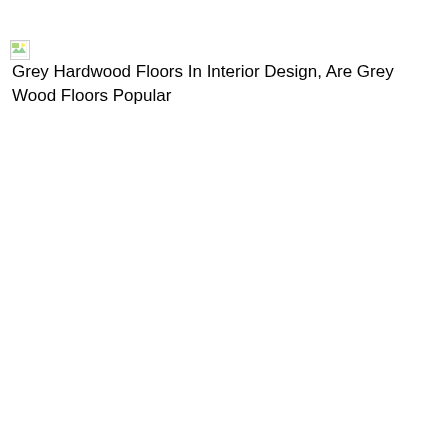[Figure (other): Broken image placeholder with alt text: Grey Hardwood Floors In Interior Design, Are Grey Wood Floors Popular]